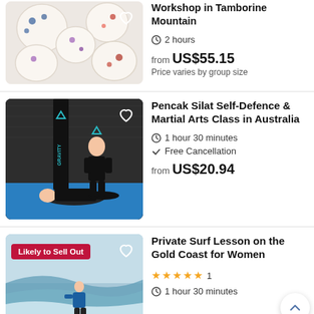[Figure (photo): Overhead view of decorative candles with flowers on white background]
Workshop in Tamborine Mountain
2 hours
from US$55.15
Price varies by group size
[Figure (photo): Pencak Silat martial arts class in a gym, a person lying on a mat with instructor]
Pencak Silat Self-Defence & Martial Arts Class in Australia
1 hour 30 minutes
Free Cancellation
from US$20.94
[Figure (photo): Woman surfing on a wave at the Gold Coast, badge: Likely to Sell Out]
Private Surf Lesson on the Gold Coast for Women
★★★★★ 1
1 hour 30 minutes